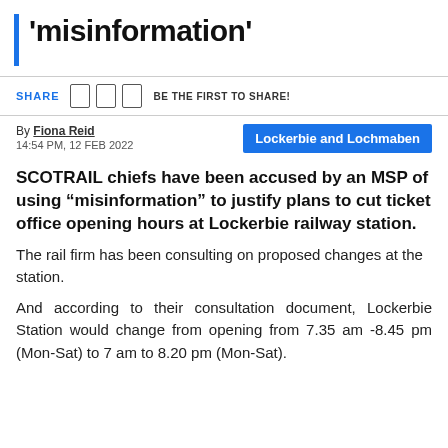'misinformation'
SHARE   BE THE FIRST TO SHARE!
By Fiona Reid
14:54 PM, 12 FEB 2022
Lockerbie and Lochmaben
SCOTRAIL chiefs have been accused by an MSP of using “misinformation” to justify plans to cut ticket office opening hours at Lockerbie railway station.
The rail firm has been consulting on proposed changes at the station.
And according to their consultation document, Lockerbie Station would change from opening from 7.35 am -8.45 pm (Mon-Sat) to 7 am to 8.20 pm (Mon-Sat).